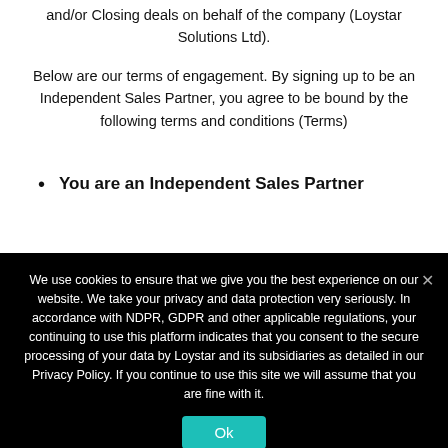and/or Closing deals on behalf of the company (Loystar Solutions Ltd).
Below are our terms of engagement. By signing up to be an Independent Sales Partner, you agree to be bound by the following terms and conditions (Terms)
You are an Independent Sales Partner
We use cookies to ensure that we give you the best experience on our website. We take your privacy and data protection very seriously. In accordance with NDPR, GDPR and other applicable regulations, your continuing to use this platform indicates that you consent to the secure processing of your data by Loystar and its subsidiaries as detailed in our Privacy Policy. If you continue to use this site we will assume that you are fine with it.